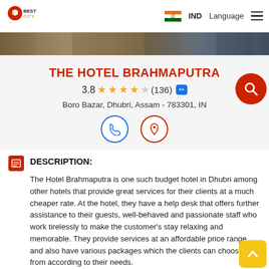5 Best City — IND Language (navigation bar)
[Figure (photo): Photo strip of the hotel exterior]
THE HOTEL BRAHMAPUTRA
3.8 ★★★☆☆ (136) [edit icon]
Boro Bazar, Dhubri, Assam - 783301, IN
[Figure (other): Phone icon button (blue circle) and location pin icon button (red circle)]
DESCRIPTION:
The Hotel Brahmaputra is one such budget hotel in Dhubri among other hotels that provide great services for their clients at a much cheaper rate. At the hotel, they have a help desk that offers further assistance to their guests, well-behaved and passionate staff who work tirelessly to make the customer's stay relaxing and memorable. They provide services at an affordable price range and also have various packages which the clients can choose from according to their needs.
SPECIALITY: